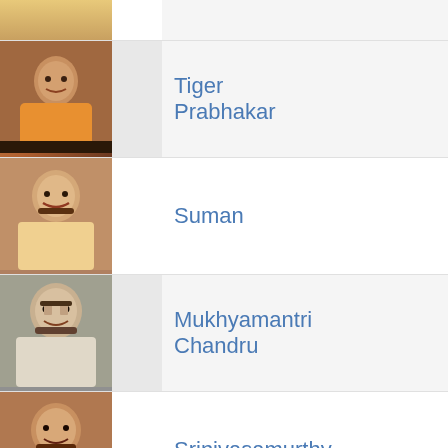Tiger Prabhakar
Suman
Mukhyamantri Chandru
Srinivasamurthy
Bank Janardhan
Doddanna